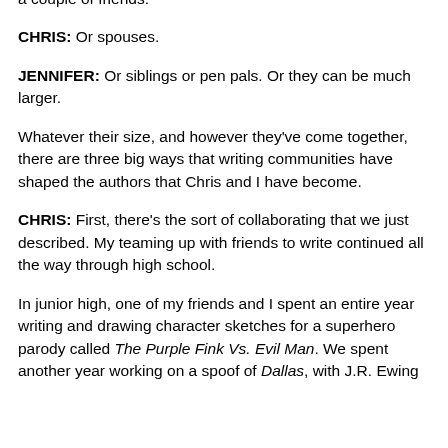a couple of friends.
CHRIS: Or spouses.
JENNIFER: Or siblings or pen pals. Or they can be much larger.
Whatever their size, and however they've come together, there are three big ways that writing communities have shaped the authors that Chris and I have become.
CHRIS: First, there's the sort of collaborating that we just described. My teaming up with friends to write continued all the way through high school.
In junior high, one of my friends and I spent an entire year writing and drawing character sketches for a superhero parody called The Purple Fink Vs. Evil Man. We spent another year working on a spoof of Dallas, with J.R. Ewing